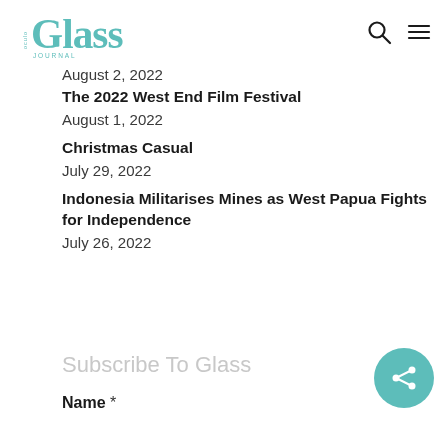Glass (logo) | Search | Menu
August 2, 2022
The 2022 West End Film Festival
August 1, 2022
Christmas Casual
July 29, 2022
Indonesia Militarises Mines as West Papua Fights for Independence
July 26, 2022
Subscribe To Glass
Name *